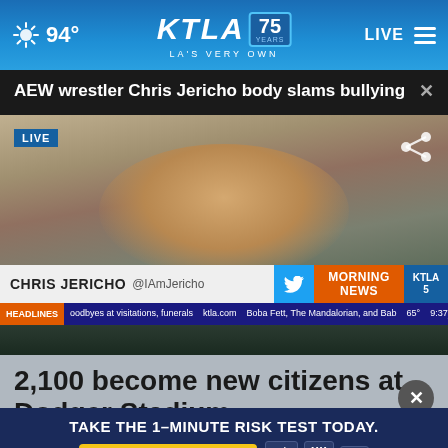94° KTLA 75 YEARS LA'S VERY OWN LIVE
AEW wrestler Chris Jericho body slams bullying
[Figure (screenshot): Live video interview with Chris Jericho on KTLA Morning News. Lower-third displays CHRIS JERICHO @IAmJericho with Morning News branding. Headlines ticker shows goodbyes at visitations, funerals / ktla.com / Boba Fett, The Mandalorian, and Bab... / 65° / 9:37]
2,100 become new citizens at Dodger Stadium
TAKE THE 1-MINUTE RISK TEST TODAY. DoIHavePrediabetes.org